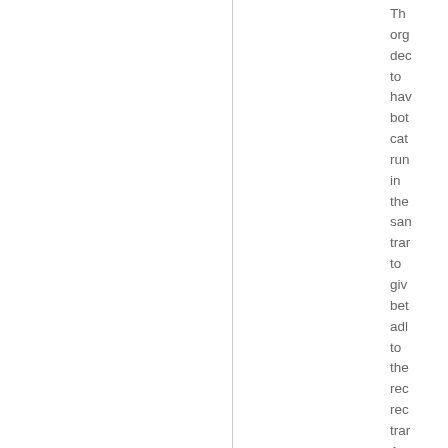The organization decided to have both categories running in the same transaction to give better additional to the recommended recommended transaction. A ten strong was